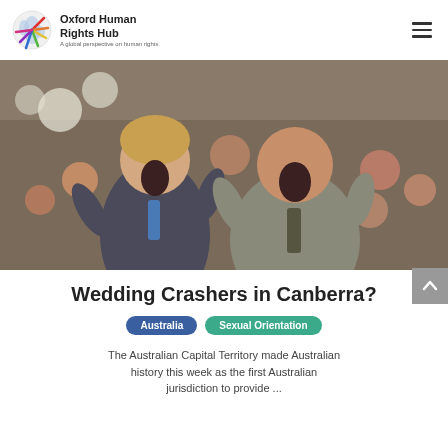Oxford Human Rights Hub — A global perspective on human rights
[Figure (photo): Two men in suits at a wedding celebration, cheering and clapping with crowd behind them (still from Wedding Crashers film)]
Wedding Crashers in Canberra?
Australia  Sexual Orientation
The Australian Capital Territory made Australian history this week as the first Australian jurisdiction to provide ...